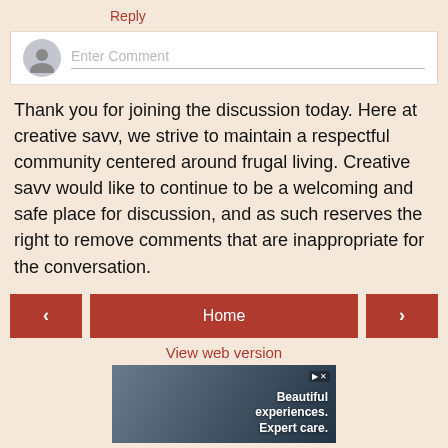Reply
[Figure (screenshot): Comment input box with user avatar and 'Enter Comment' placeholder text]
Thank you for joining the discussion today. Here at creative savv, we strive to maintain a respectful community centered around frugal living. Creative savv would like to continue to be a welcoming and safe place for discussion, and as such reserves the right to remove comments that are inappropriate for the conversation.
[Figure (screenshot): Navigation row with left arrow button, Home button, and right arrow button]
View web version
[Figure (photo): Advertisement showing people smiling with text 'Beautiful experiences. Expert care.']